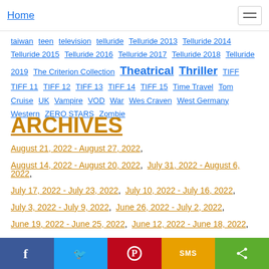Home
taiwan  teen  television  telluride  Telluride 2013  Telluride 2014  Telluride 2015  Telluride 2016  Telluride 2017  Telluride 2018  Telluride 2019  The Criterion Collection  Theatrical  Thriller  TIFF  TIFF 11  TIFF 12  TIFF 13  TIFF 14  TIFF 15  Time Travel  Tom Cruise  UK  Vampire  VOD  War  Wes Craven  West Germany  Western  ZERO STARS  Zombie
ARCHIVES
August 21, 2022 - August 27, 2022
August 14, 2022 - August 20, 2022
July 31, 2022 - August 6, 2022
July 17, 2022 - July 23, 2022
July 10, 2022 - July 16, 2022
July 3, 2022 - July 9, 2022
June 26, 2022 - July 2, 2022
June 19, 2022 - June 25, 2022
June 12, 2022 - June 18, 2022
June 5, 2022 - June 11, 2022
f  twitter  pinterest  SMS  share